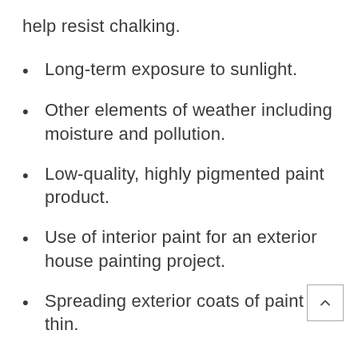help resist chalking.
Long-term exposure to sunlight.
Other elements of weather including moisture and pollution.
Low-quality, highly pigmented paint product.
Use of interior paint for an exterior house painting project.
Spreading exterior coats of paint too thin.